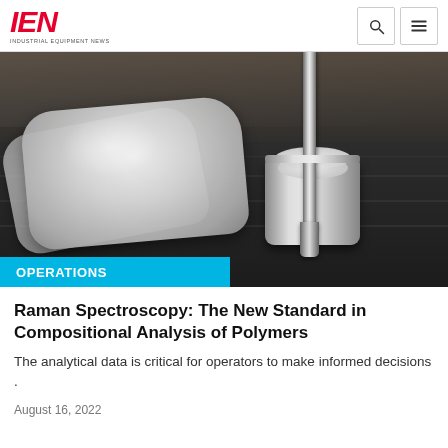IEN — INDUSTRIAL EQUIPMENT NEWS
[Figure (photo): A laboratory or industrial setting showing white polymer pellets in bags on a dark grooved surface, with a probe or instrument inserted into a cylindrical container filled with white polymer pellets. The image depicts Raman spectroscopy analysis of polymer materials.]
OPERATIONS
Raman Spectroscopy: The New Standard in Compositional Analysis of Polymers
The analytical data is critical for operators to make informed decisions .
August 16, 2022